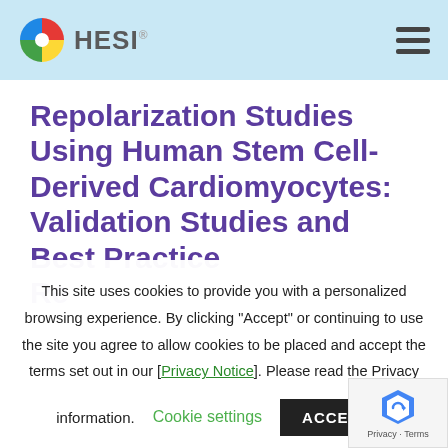HESI
Repolarization Studies Using Human Stem Cell-Derived Cardiomyocytes: Validation Studies and Best Practice Recommendations
This site uses cookies to provide you with a personalized browsing experience. By clicking “Accept” or continuing to use the site you agree to allow cookies to be placed and accept the terms set out in our [Privacy Notice]. Please read the Privacy Notice for more information on how we handle information collected from users and how you can control the use information.
Cookie settings
ACCEPT